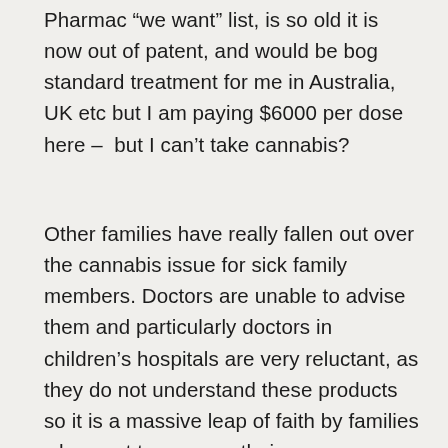Pharmac "we want" list, is so old it is now out of patent, and would be bog standard treatment for me in Australia, UK etc but I am paying $6000 per dose here – but I can't take cannabis?
Other families have really fallen out over the cannabis issue for sick family members. Doctors are unable to advise them and particularly doctors in children's hospitals are very reluctant, as they do not understand these products so it is a massive leap of faith by families who want to manage their own application etc – it is a craze reversal of roles! These families are desperate to get a doctors support and it's the cause of much friction.
Meanwhile Australian State Governments are investing in products now and getting very much into business development around cannabis and its various uses while NZ sits on its hands. I would like a referendum on the issue at